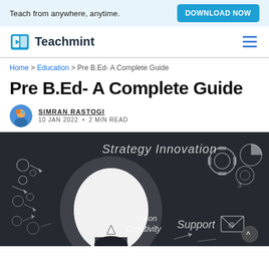Teach from anywhere, anytime.
DOWNLOAD NOW
[Figure (logo): Teachmint logo with blue book/play icon and bold Teachmint wordmark]
≡ (hamburger menu)
Home > Education > Pre B.Ed- A Complete Guide
Pre B.Ed- A Complete Guide
SIMRAN RASTOGI
10 JAN 2022 • 2 MIN READ
[Figure (photo): Chalkboard with various business strategy doodles: arrows, gears, lightbulb, pie chart, envelope icon, and words Strategy, Innovation, Vision, Creativity, Support on dark background]